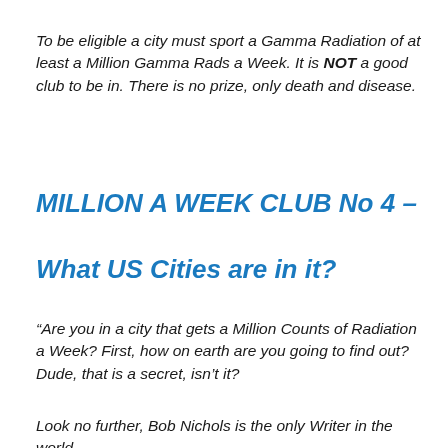To be eligible a city must sport a Gamma Radiation of at least a Million Gamma Rads a Week. It is NOT a good club to be in. There is no prize, only death and disease.
MILLION A WEEK CLUB No 4 –
What US Cities are in it?
“Are you in a city that gets a Million Counts of Radiation a Week? First, how on earth are you going to find out? Dude, that is a secret, isn’t it?
Look no further, Bob Nichols is the only Writer in the world